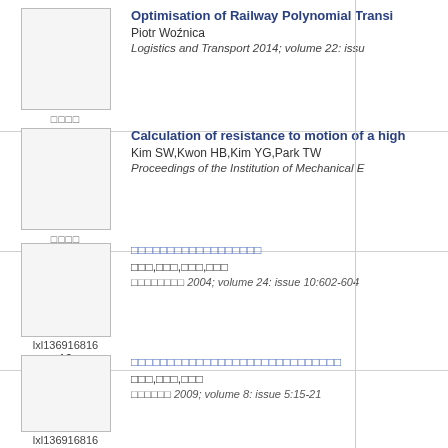[Figure (other): Thumbnail image placeholder for article 1]
Optimisation of Railway Polynomial Transi...
Piotr Woźnica
Logistics and Transport 2014; volume 22: issu...
[Figure (other): Thumbnail image placeholder for article 2]
Calculation of resistance to motion of a high...
Kim SW,Kwon HB,Kim YG,Park TW
Proceedings of the Institution of Mechanical E...
[Figure (other): Thumbnail image placeholder for article 3]
□□□□□□□□□□□□□□□□□□
□□□,□□□,□□□,□□□
□□□□□□□□ 2004; volume 24: issue 10:602-604
lxl136916816
12
[Figure (other): Thumbnail image placeholder for article 4]
□□□□□□□□□□□□□□□□□□□□□□□□□□□□□
□□□,□□□,□□□
□□□□□□ 2009; volume 8: issue 5:15-21
lxl136916816
12
[Figure (other): Thumbnail image placeholder for article 5]
An improved method for numerical inversio...
De Hoog FR,Knight JH,Stokes AN
SIAM Journal on Scientific and Statistical Co...